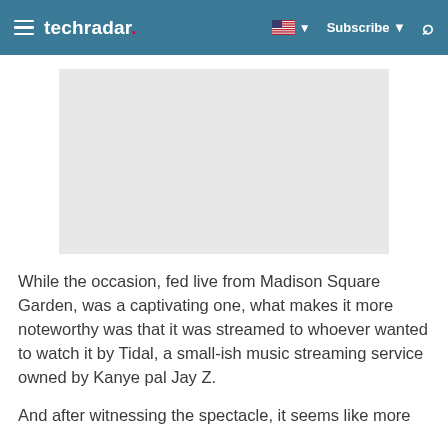techradar | Subscribe
[Figure (photo): Gray placeholder image area (advertisement or article image)]
While the occasion, fed live from Madison Square Garden, was a captivating one, what makes it more noteworthy was that it was streamed to whoever wanted to watch it by Tidal, a small-ish music streaming service owned by Kanye pal Jay Z.
And after witnessing the spectacle, it seems like more